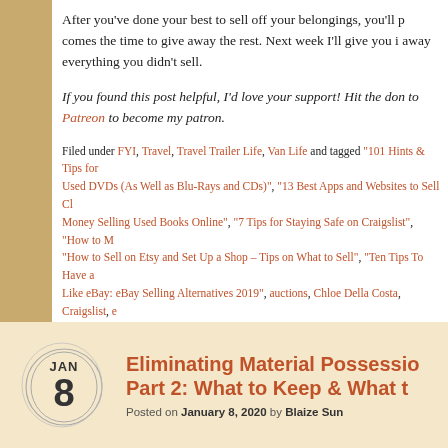After you've done your best to sell off your belongings, you'll p comes the time to give away the rest. Next week I'll give you i away everything you didn't sell.
If you found this post helpful, I'd love your support! Hit the don to Patreon to become my patron.
Filed under FYI, Travel, Travel Trailer Life, Van Life and tagged "101 Hints & Tips for Used DVDs (As Well as Blu-Rays and CDs)", "13 Best Apps and Websites to Sell Cl Money Selling Used Books Online", "7 Tips for Staying Safe on Craigslist", "How to M "How to Sell on Etsy and Set Up a Shop – Tips on What to Sell", "Ten Tips To Have a Like eBay: eBay Selling Alternatives 2019", auctions, Chloe Della Costa, Craigslist, e group, Facebook Marketplace, flea market, garage sale, how to sell things, how to s Josh Patoka, Kristi Kellogg, Krystin Arneson, letting go, letting go of things, Mark The Penny Pinchin Mom blog, Sarah Jacobsson Purewal, sell on Craigslist, sell on Face meet, Teen Vogue, thrift stores, Thrifty Nickel, where to donate things you do not wa
Eliminating Material Possessions Part 2: What to Keep & What t
Posted on January 8, 2020 by Blaize Sun